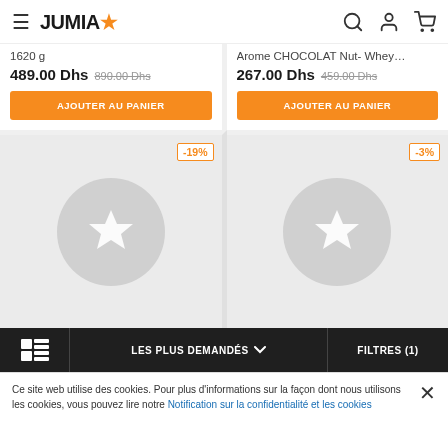JUMIA
1620 g
489.00 Dhs 890.00 Dhs
AJOUTER AU PANIER
Arome CHOCOLAT Nut- Whey...
267.00 Dhs 459.00 Dhs
AJOUTER AU PANIER
[Figure (other): Product placeholder image with star icon on grey background, -19% badge]
[Figure (other): Product placeholder image with star icon on grey background, -3% badge]
LES PLUS DEMANDÉS   FILTRES (1)
Ce site web utilise des cookies. Pour plus d'informations sur la façon dont nous utilisons les cookies, vous pouvez lire notre Notification sur la confidentialité et les cookies